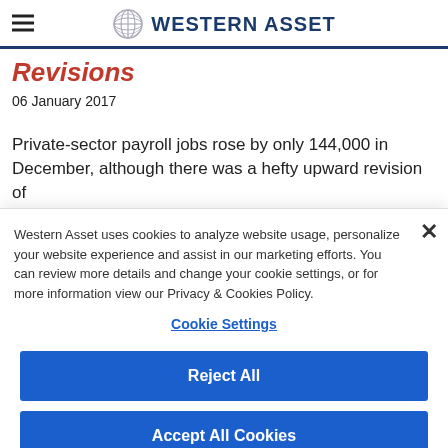Western Asset
Revisions
06 January 2017
Private-sector payroll jobs rose by only 144,000 in December, although there was a hefty upward revision of
Western Asset uses cookies to analyze website usage, personalize your website experience and assist in our marketing efforts. You can review more details and change your cookie settings, or for more information view our Privacy & Cookies Policy.
Cookie Settings
Reject All
Accept All Cookies